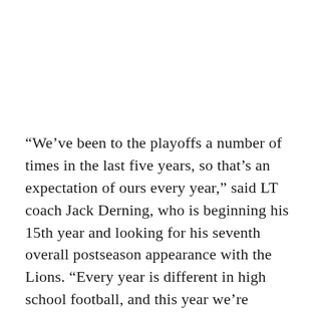“We’ve been to the playoffs a number of times in the last five years, so that’s an expectation of ours every year,” said LT coach Jack Derning, who is beginning his 15th year and looking for his seventh overall postseason appearance with the Lions. “Every year is different in high school football, and this year we’re inexperienced. That doesn’t change the expectations of the program.”